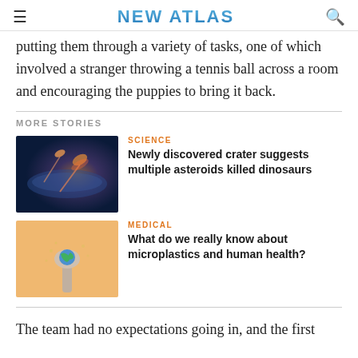NEW ATLAS
putting them through a variety of tasks, one of which involved a stranger throwing a tennis ball across a room and encouraging the puppies to bring it back.
MORE STORIES
[Figure (photo): Space image showing asteroids or meteorites against a dark blue sky background]
SCIENCE
Newly discovered crater suggests multiple asteroids killed dinosaurs
[Figure (photo): Medical image showing a spoon with a globe/earth on it against an orange background, symbolizing microplastics]
MEDICAL
What do we really know about microplastics and human health?
The team had no expectations going in, and the first